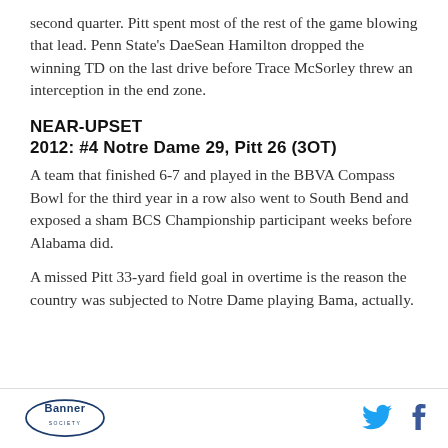second quarter. Pitt spent most of the rest of the game blowing that lead. Penn State's DaeSean Hamilton dropped the winning TD on the last drive before Trace McSorley threw an interception in the end zone.
NEAR-UPSET
2012: #4 Notre Dame 29, Pitt 26 (3OT)
A team that finished 6-7 and played in the BBVA Compass Bowl for the third year in a row also went to South Bend and exposed a sham BCS Championship participant weeks before Alabama did.
A missed Pitt 33-yard field goal in overtime is the reason the country was subjected to Notre Dame playing Bama, actually.
Banner Society